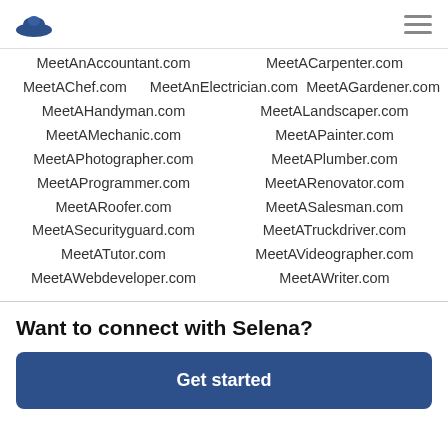[logo] [hamburger menu]
MeetAnAccountant.com   MeetACarpenter.com
MeetAChef.com   MeetAnElectrician.com   MeetAGardener.com
MeetAHandyman.com   MeetALandscaper.com
MeetAMechanic.com   MeetAPainter.com
MeetAPhotographer.com   MeetAPlumber.com
MeetAProgrammer.com   MeetARenovator.com
MeetARoofer.com   MeetASalesman.com
MeetASecurityguard.com   MeetATruckdriver.com
MeetATutor.com   MeetAVideographer.com
MeetAWebdeveloper.com   MeetAWriter.com
Want to connect with Selena?
Get started